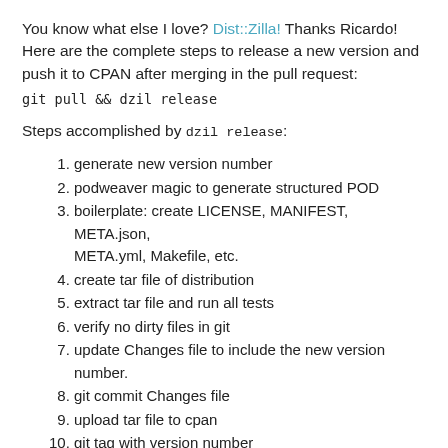You know what else I love? Dist::Zilla! Thanks Ricardo! Here are the complete steps to release a new version and push it to CPAN after merging in the pull request:
Steps accomplished by dzil release:
generate new version number
podweaver magic to generate structured POD
boilerplate: create LICENSE, MANIFEST, META.json, META.yml, Makefile, etc.
create tar file of distribution
extract tar file and run all tests
verify no dirty files in git
update Changes file to include the new version number.
git commit Changes file
upload tar file to cpan
git tag with version number